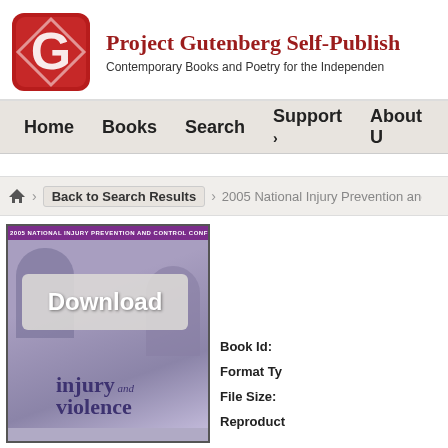[Figure (logo): Project Gutenberg Self-Publishing logo — red rounded square with white G lettermark]
Project Gutenberg Self-Publish
Contemporary Books and Poetry for the Independen
Home   Books   Search   Support ›   About U
Back to Search Results › 2005 National Injury Prevention and Cont
[Figure (screenshot): Book cover for 2005 National Injury Prevention and Control Conference showing 'injury and violence' text with human figure silhouettes, purple background, and a Download button overlay]
Book Id:
Format Ty
File Size:
Reproduct